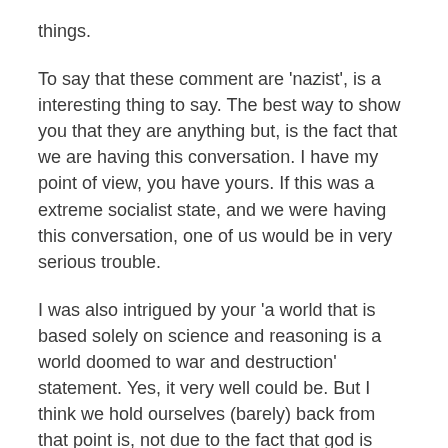things.
To say that these comment are 'nazist', is a interesting thing to say. The best way to show you that they are anything but, is the fact that we are having this conversation. I have my point of view, you have yours. If this was a extreme socialist state, and we were having this conversation, one of us would be in very serious trouble.
I was also intrigued by your 'a world that is based solely on science and reasoning is a world doomed to war and destruction' statement. Yes, it very well could be. But I think we hold ourselves (barely) back from that point is, not due to the fact that god is telling us to, but to something called humanity. I don't plan on killing anyone or taking over Europe. I don't need god to tell me that killing, stealing, lying and cheating are wrong. I just know that because I'd rather get along with my neighbours so, I don't do these things. I also know that to be a good neighbour, you help when you can, as best you can